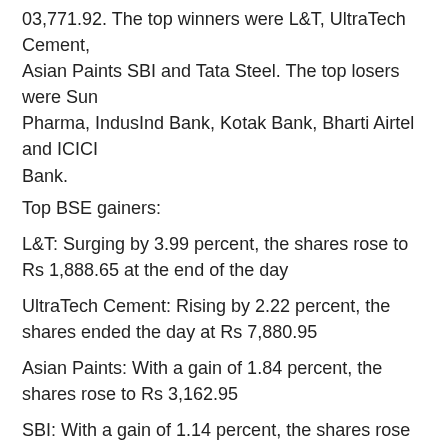03,771.92. The top winners were L&T, UltraTech Cement, Asian Paints SBI and Tata Steel. The top losers were Sun Pharma, IndusInd Bank, Kotak Bank, Bharti Airtel and ICICI Bank.
Top BSE gainers:
L&T: Surging by 3.99 percent, the shares rose to Rs 1,888.65 at the end of the day
UltraTech Cement: Rising by 2.22 percent, the shares ended the day at Rs 7,880.95
Asian Paints: With a gain of 1.84 percent, the shares rose to Rs 3,162.95
SBI: With a gain of 1.14 percent, the shares rose to Rs 527.65
Tata Steel: Rising by 0.87 percent, the shares ended the day at Rs 1,325.90